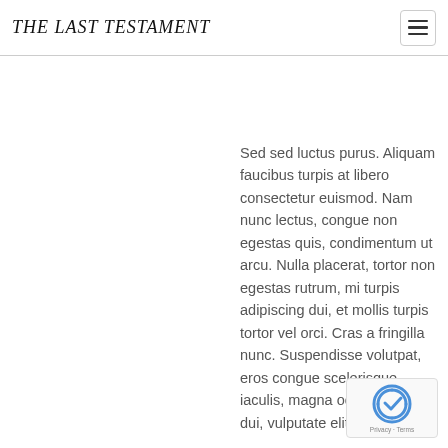THE LAST TESTAMENT
Sed sed luctus purus. Aliquam faucibus turpis at libero consectetur euismod. Nam nunc lectus, congue non egestas quis, condimentum ut arcu. Nulla placerat, tortor non egestas rutrum, mi turpis adipiscing dui, et mollis turpis tortor vel orci. Cras a fringilla nunc. Suspendisse volutpat, eros congue scelerisque iaculis, magna odio sodales dui, vulputate elit metu